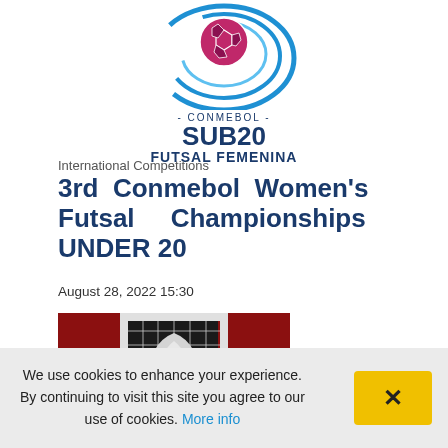[Figure (logo): CONMEBOL SUB20 FUTSAL FEMENINA logo with soccer ball and circular design]
International Competitions
3rd Conmebol Women's Futsal Championships UNDER 20
August 28, 2022 15:30
[Figure (photo): Trophy photo with red/white goal net in background]
International Competitions
UEFA Futsal Champions
We use cookies to enhance your experience. By continuing to visit this site you agree to our use of cookies. More info